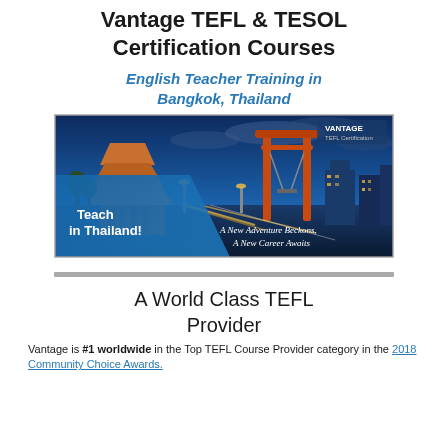Vantage TEFL & TESOL Certification Courses
English Teacher Training in Bangkok, Thailand
[Figure (photo): Banner image showing Bangkok temple and giant swing at dusk/night with city lights. Text overlay reads 'Teach in Thailand!' on the left and 'A New Adventure Beckons, A New Career Awaits' on the right. Vantage TEFL Certification logo in top right corner.]
A World Class TEFL Provider
Vantage is #1 worldwide in the Top TEFL Course Provider category in the 2018 Community Choice Awards.